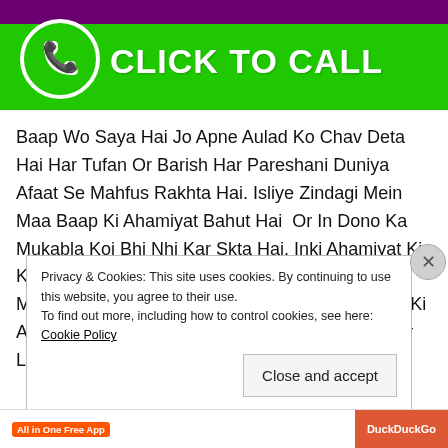[Figure (infographic): Green and purple 'Click to Call' button banner with phone icon on left and bold white text 'CLICK TO CALL' on the right]
Baap Wo Saya Hai Jo Apne Aulad Ko Chav Deta Hai Har Tufan Or Barish Har Pareshani Duniya Afaat Se Mahfus Rakhta Hai. Isliye Zindagi Mein Maa Baap Ki Ahamiyat Bahut Hai  Or In Dono Ka Mukabla Koi Bhi Nhi Kar Skta Hai. Inki Ahamiyat Ki Kami Ko Koi Bhi Insan Ho Puri Nhi Kar Skta Hai Maa Baap Se Apni Baat Manwane Ka Yah Tarika Ki Ap Apne Maa Baap Ki Apni Khidmat Se Razzi Kar Le.
Privacy & Cookies: This site uses cookies. By continuing to use this website, you agree to their use.
To find out more, including how to control cookies, see here: Cookie Policy
Close and accept